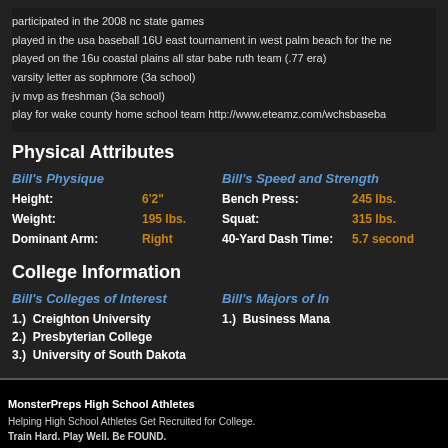participated in the 2008 nc state games
played in the usa baseball 16U east tournament in west palm beach for the ne
played on the 16u coastal plains all star babe ruth team (.77 era)
varsity letter as sophmore (3a school)
jv mvp as freshman (3a school)
play for wake county home school team http://www.eteamz.com/wchsbaseba
Physical Attributes
Bill's Physique
Height: 6'2"
Weight: 195 lbs.
Dominant Arm: Right
Bill's Speed and Strength
Bench Press: 245 lbs.
Squat: 315 lbs.
40-Yard Dash Time: 5.7 seconds
College Information
Bill's Colleges of Interest
1.)  Creighton University
2.)  Presbyterian College
3.)  University of South Dakota
Bill's Majors of Interest
1.)  Business Management
MonsterPreps High School Athletes
Helping High School Athletes Get Recruited for College.
Train Hard. Play Well. Be FOUND.